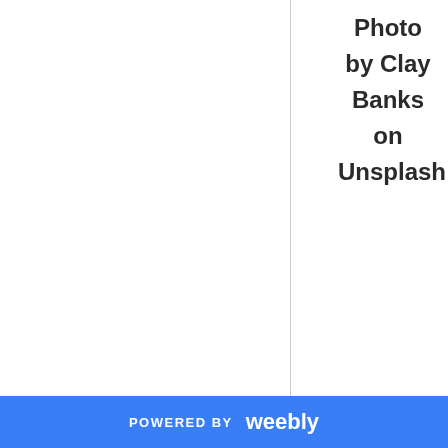Photo by Clay Banks on Unsplash
Distractibility is a symptom of grief
POWERED BY weebly